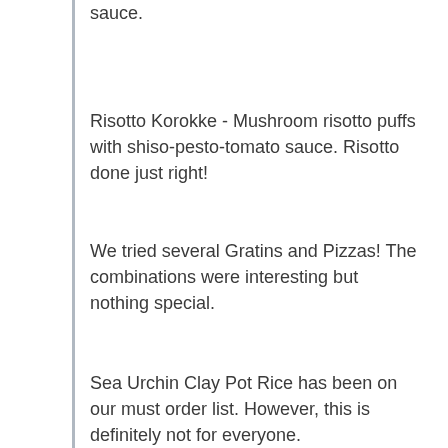sauce.
Risotto Korokke - Mushroom risotto puffs with shiso-pesto-tomato sauce. Risotto done just right!
We tried several Gratins and Pizzas! The combinations were interesting but nothing special.
Sea Urchin Clay Pot Rice has been on our must order list. However, this is definitely not for everyone.
As for the raw stuff, we kept on ordering the Hamachi yellowtail, garlic-ginger-ponzu and chopped jalapeño drizzled with garlic oil.
Besides all the above, we tried their special